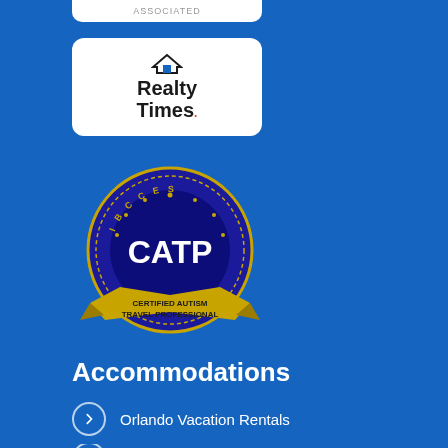[Figure (logo): Partial white logo bar cropped at top of page]
[Figure (logo): Realty Times logo on white rounded rectangle background]
[Figure (logo): CATP Certified Autism Travel Professional badge with ribbon]
Accommodations
Orlando Vacation Rentals
Orlando Hotels
Orlando Discount Tickets
Disney World Discounted Tickets
Universal Studios Tickets
Sea World Tickets